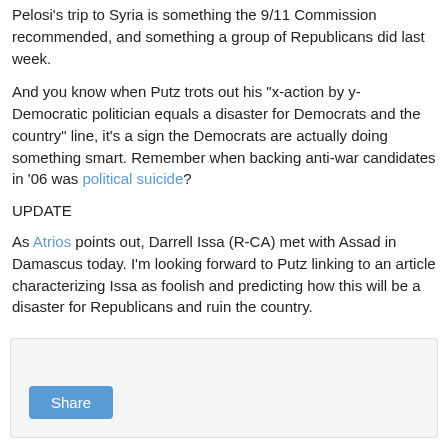Pelosi's trip to Syria is something the 9/11 Commission recommended, and something a group of Republicans did last week.
And you know when Putz trots out his "x-action by y-Democratic politician equals a disaster for Democrats and the country" line, it's a sign the Democrats are actually doing something smart. Remember when backing anti-war candidates in '06 was political suicide?
UPDATE
As Atrios points out, Darrell Issa (R-CA) met with Assad in Damascus today. I'm looking forward to Putz linking to an article characterizing Issa as foolish and predicting how this will be a disaster for Republicans and ruin the country.
[Figure (other): Share box with a Share button]